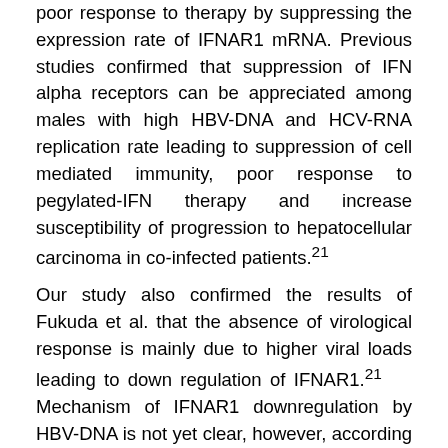poor response to therapy by suppressing the expression rate of IFNAR1 mRNA. Previous studies confirmed that suppression of IFN alpha receptors can be appreciated among males with high HBV-DNA and HCV-RNA replication rate leading to suppression of cell mediated immunity, poor response to pegylated-IFN therapy and increase susceptibility of progression to hepatocellular carcinoma in co-infected patients.21 Our study also confirmed the results of Fukuda et al. that the absence of virological response is mainly due to higher viral loads leading to down regulation of IFNAR1.21 Mechanism of IFNAR1 downregulation by HBV-DNA is not yet clear, however, according to other studies, increased level of serum HBV-DNA can be considered directly related to hepatic cell injury leading to severe hepatic stage of